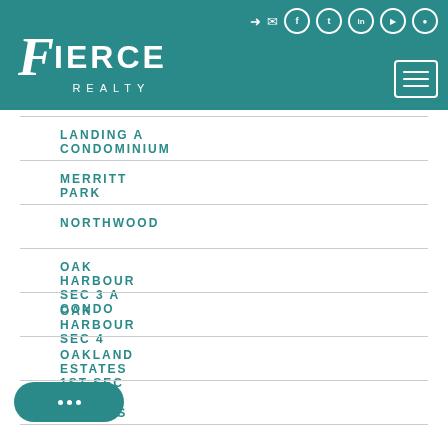[Figure (logo): Fierce Realty logo with navigation header in teal, social media icons at top right, hamburger menu button]
LANDING A CONDOMINIUM
MERRITT PARK
NORTHWOOD
OAK HARBOUR SEC 3 A CONDO
OAK HARBOUR SEC 4
OAKLAND ESTATES 1ST SEC
...LLA HEIGHTS